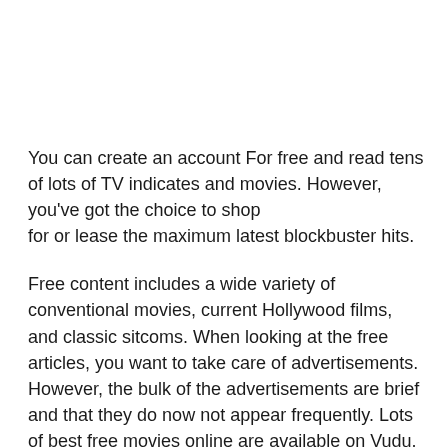You can create an account For free and read tens of lots of TV indicates and movies. However, you've got the choice to shop for or lease the maximum latest blockbuster hits.
Free content includes a wide variety of conventional movies, current Hollywood films, and classic sitcoms. When looking at the free articles, you want to take care of advertisements. However, the bulk of the advertisements are brief and that they do now not appear frequently. Lots of best free movies online are available on Vudu.
The port makes it easy to browse the content material with films and television shows divided into